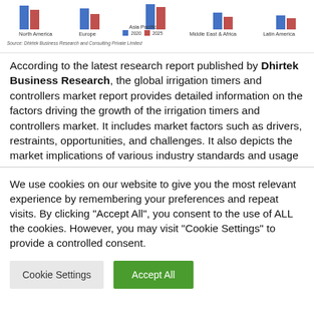[Figure (grouped-bar-chart): Regional Market Comparison 2020 vs 2025]
Source: Dhirtek Business Research and Consulting Private Limited
According to the latest research report published by Dhirtek Business Research, the global irrigation timers and controllers market report provides detailed information on the factors driving the growth of the irrigation timers and controllers market. It includes market factors such as drivers, restraints, opportunities, and challenges. It also depicts the market implications of various industry standards and usage scenarios. The COVID-19 has a significant impact on the global economy. This pandemic is having an
We use cookies on our website to give you the most relevant experience by remembering your preferences and repeat visits. By clicking "Accept All", you consent to the use of ALL the cookies. However, you may visit "Cookie Settings" to provide a controlled consent.